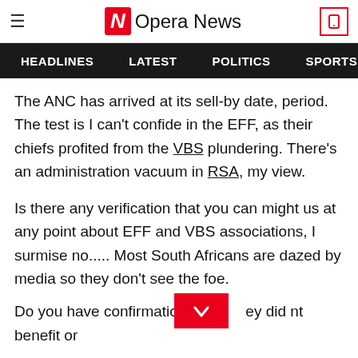Opera News
HEADLINES   LATEST   POLITICS   SPORTS   B
The ANC has arrived at its sell-by date, period. The test is I can't confide in the EFF, as their chiefs profited from the VBS plundering. There's an administration vacuum in RSA, my view.
Is there any verification that you can might us at any point about EFF and VBS associations, I surmise no..... Most South Africans are dazed by media so they don't see the foe.
Do you have confirmation they did nt benefit or